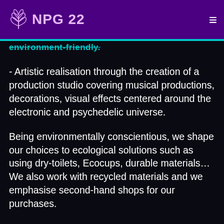NPG 22
environment-friendly.
- Artistic realisation through the creation of a production studio covering musical productions, decorations, visual effects centered around the electronic and psychedelic universe.
Being environmentally conscientious, we shape our choices to ecological solutions such as using dry-toilets, Ecocups, durable materials… We also work with recycled materials and we emphasise second-hand shops for our purchases.